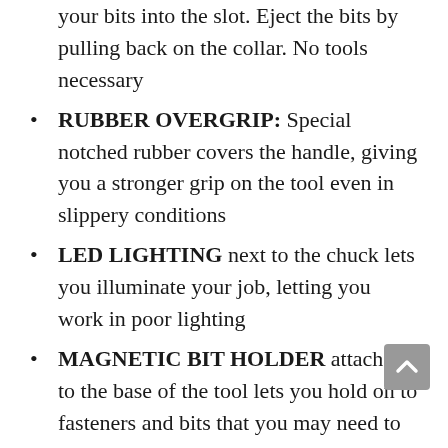your bits into the slot. Eject the bits by pulling back on the collar. No tools necessary
RUBBER OVERGRIP: Special notched rubber covers the handle, giving you a stronger grip on the tool even in slippery conditions
LED LIGHTING next to the chuck lets you illuminate your job, letting you work in poor lighting
MAGNETIC BIT HOLDER attached to the base of the tool lets you hold on to fasteners and bits that you may need to attach to the tool while you’re high up on a ladder
How to Choose the Best Ryobi Impact Driver